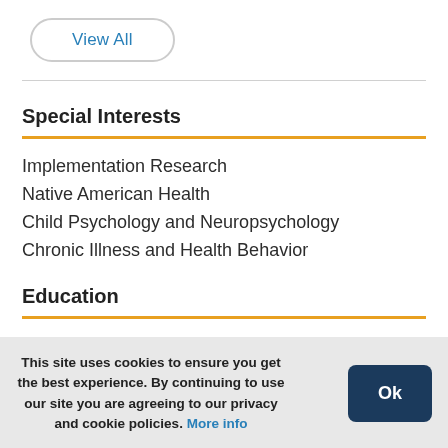View All
Special Interests
Implementation Research
Native American Health
Child Psychology and Neuropsychology
Chronic Illness and Health Behavior
Education
This site uses cookies to ensure you get the best experience. By continuing to use our site you are agreeing to our privacy and cookie policies. More info